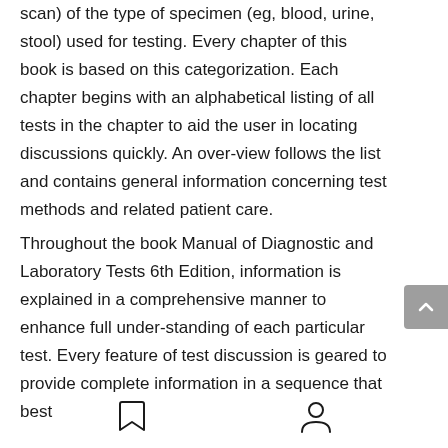scan) of the type of specimen (eg, blood, urine, stool) used for testing. Every chapter of this book is based on this categorization. Each chapter begins with an alphabetical listing of all tests in the chapter to aid the user in locating discussions quickly. An over-view follows the list and contains general information concerning test methods and related patient care.
Throughout the book Manual of Diagnostic and Laboratory Tests 6th Edition, information is explained in a comprehensive manner to enhance full under-standing of each particular test. Every feature of test discussion is geared to provide complete information in a sequence that best